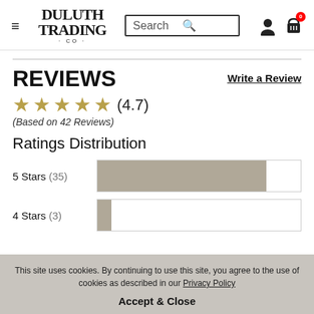[Figure (screenshot): Duluth Trading Co. website header with hamburger menu, logo, search bar, user icon, and cart icon with 0 badge]
REVIEWS
Write a Review
★★★★½ (4.7)
(Based on 42 Reviews)
Ratings Distribution
[Figure (bar-chart): Ratings Distribution]
This site uses cookies. By continuing to use this site, you agree to the use of cookies as described in our Privacy Policy
Accept & Close